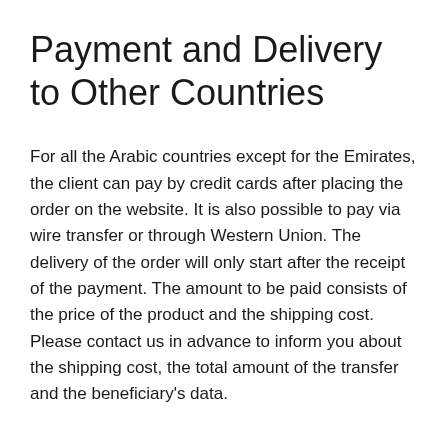Payment and Delivery to Other Countries
For all the Arabic countries except for the Emirates, the client can pay by credit cards after placing the order on the website. It is also possible to pay via wire transfer or through Western Union. The delivery of the order will only start after the receipt of the payment. The amount to be paid consists of the price of the product and the shipping cost. Please contact us in advance to inform you about the shipping cost, the total amount of the transfer and the beneficiary's data.